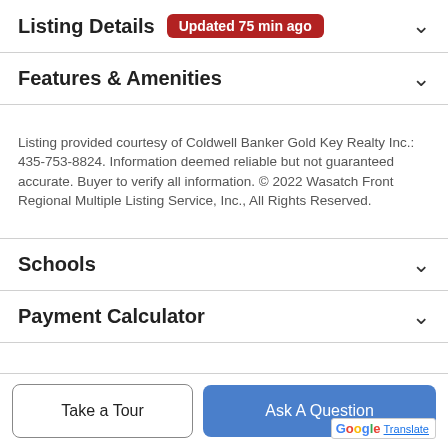Listing Details Updated 75 min ago
Features & Amenities
Listing provided courtesy of Coldwell Banker Gold Key Realty Inc.: 435-753-8824. Information deemed reliable but not guaranteed accurate. Buyer to verify all information. © 2022 Wasatch Front Regional Multiple Listing Service, Inc., All Rights Reserved.
Schools
Payment Calculator
Contact Agent
Take a Tour
Ask A Question